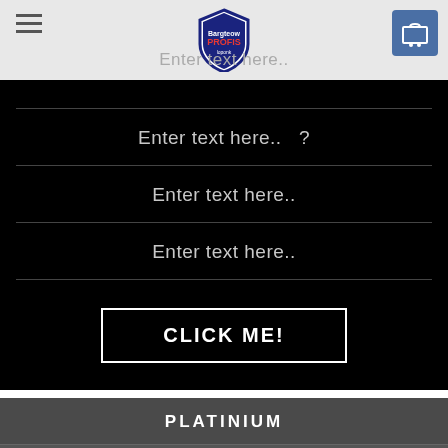Enter text here..
Enter text here..  ?
Enter text here..
Enter text here..
CLICK ME!
PLATINIUM
129$
Enter description here...